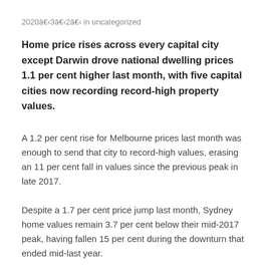2020年3月2日 in uncategorized
Home price rises across every capital city except Darwin drove national dwelling prices 1.1 per cent higher last month, with five capital cities now recording record-high property values.
A 1.2 per cent rise for Melbourne prices last month was enough to send that city to record-high values, erasing an 11 per cent fall in values since the previous peak in late 2017.
Despite a 1.7 per cent price jump last month, Sydney home values remain 3.7 per cent below their mid-2017 peak, having fallen 15 per cent during the downturn that ended mid-last year.